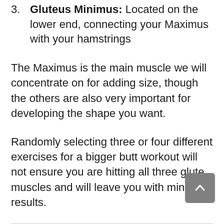3. Gluteus Minimus: Located on the lower end, connecting your Maximus with your hamstrings
The Maximus is the main muscle we will concentrate on for adding size, though the others are also very important for developing the shape you want.
Randomly selecting three or four different exercises for a bigger butt workout will not ensure you are hitting all three glute muscles and will leave you with minimal results.